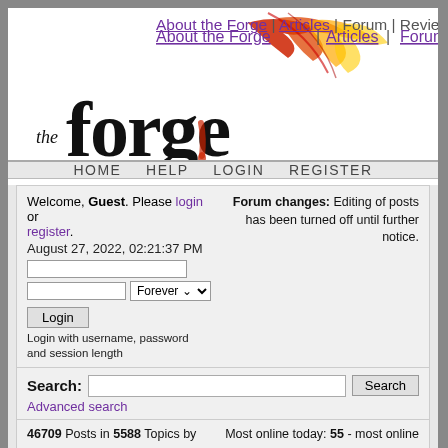[Figure (logo): The Forge website logo with dragon illustration and navigation links: About the Forge | Articles | Forum | Reviews]
HOME  HELP  LOGIN  REGISTER
Welcome, Guest. Please login or register. August 27, 2022, 02:21:37 PM
Forum changes: Editing of posts has been turned off until further notice.
Login with username, password and session length
Search: [input] Search
Advanced search
46709 Posts in 5588 Topics by 13299 Members Latest Member: - Jason DAngelo
Most online today: 55 - most online ever: 843 (October 22, 2020, 11:18:00 PM)
The Forge Forums
General Forge Forums
Actual Play